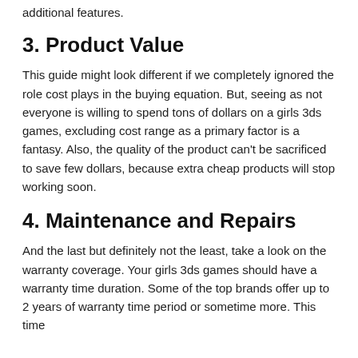additional features.
3. Product Value
This guide might look different if we completely ignored the role cost plays in the buying equation. But, seeing as not everyone is willing to spend tons of dollars on a girls 3ds games, excluding cost range as a primary factor is a fantasy. Also, the quality of the product can't be sacrificed to save few dollars, because extra cheap products will stop working soon.
4. Maintenance and Repairs
And the last but definitely not the least, take a look on the warranty coverage. Your girls 3ds games should have a warranty time duration. Some of the top brands offer up to 2 years of warranty time period or sometime more. This time